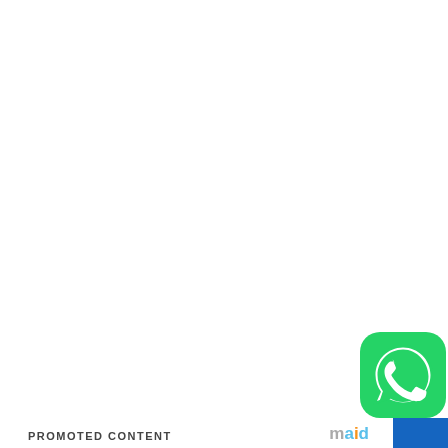[Figure (logo): WhatsApp app icon — green rounded square with white phone/speech bubble logo]
PROMOTED CONTENT
[Figure (logo): Maid.io logo — stylized text 'maid' with colorful letters followed by a blue arrow/chevron on a blue rectangle background]